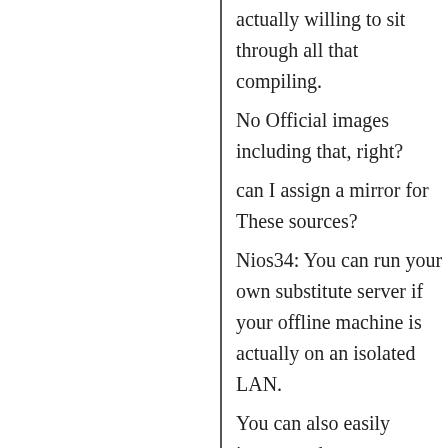actually willing to sit through all that compiling.
<Nios34> No Official images including that, right?
<Nios34> can I assign a mirror for These sources?
<kirisime> Nios34: You can run your own substitute server if your offline machine is actually on an isolated LAN.
<kirisime> You can also easily import and export store paths between guix systems.